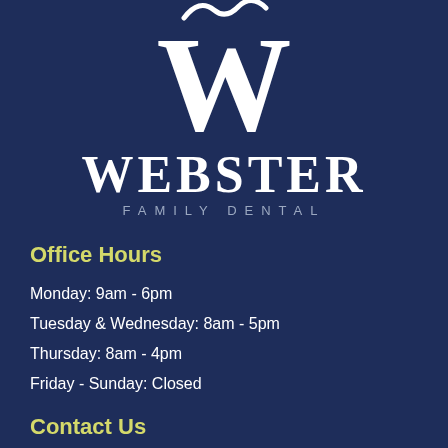[Figure (logo): Webster Family Dental logo with large W letter and decorative wave/tooth mark above it, white on dark navy background]
Office Hours
Monday: 9am - 6pm
Tuesday & Wednesday: 8am - 5pm
Thursday: 8am - 4pm
Friday - Sunday: Closed
Contact Us